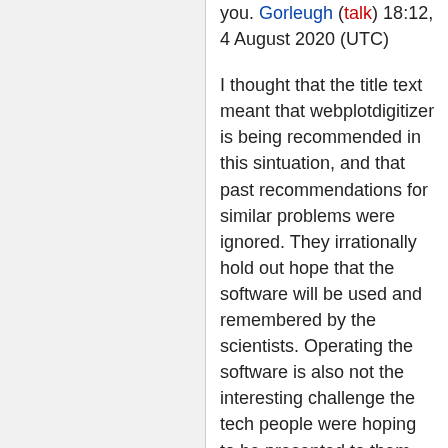you. Gorleugh (talk) 18:12, 4 August 2020 (UTC)
I thought that the title text meant that webplotdigitizer is being recommended in this sintuation, and that past recommendations for similar problems were ignored. They irrationally hold out hope that the software will be used and remembered by the scientists. Operating the software is also not the interesting challenge the tech people were hoping to be presented to them. 162.158.74.155 18:10, 4 August 2020 (UTC)
Very shortly after this comic published I started seeing several articles about how